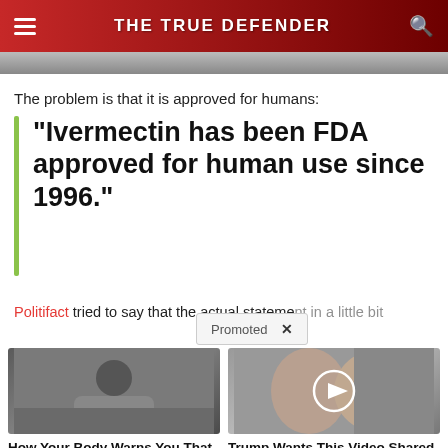THE TRUE DEFENDER
The problem is that it is approved for humans:
“Ivermectin has been FDA approved for human use since 1996.”
Politifact tried to say that the actual stateme...
[Figure (photo): Promoted content overlay with two thumbnail cards: left card shows a person sitting on bed (How Your Body Warns You That Dementia Is Forming, 64,391 views); right card shows Trump and Melania with video play button (Trump Wants This Video Shared A Million Times — Watch Now Before It’s Banned!, 46,664 views)]
How Your Body Warns You That Dementia Is Forming
Trump Wants This Video Shared A Million Times — Watch Now Before It's Banned!